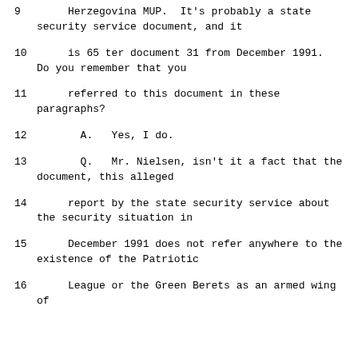9    Herzegovina MUP.  It's probably a state security service document, and it
10       is 65 ter document 31 from December 1991.  Do you remember that you
11       referred to this document in these paragraphs?
12         A.   Yes, I do.
13         Q.   Mr. Nielsen, isn't it a fact that the document, this alleged
14       report by the state security service about the security situation in
15       December 1991 does not refer anywhere to the existence of the Patriotic
16      League or the Green Berets as an armed wing of